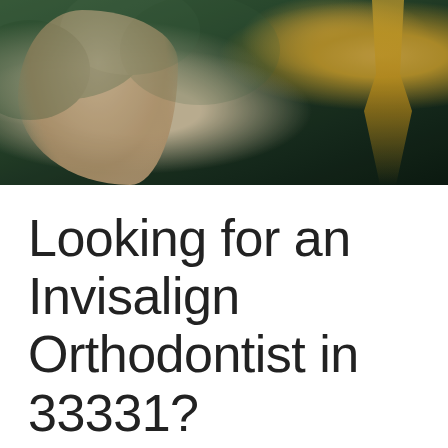[Figure (photo): Photo of a person's hand holding something, wearing dark clothing with a gold cross necklace, outdoors with trees in background]
Looking for an Invisalign Orthodontist in 33331?
April 1, 2020 / Invisalign / By Maria Yazji